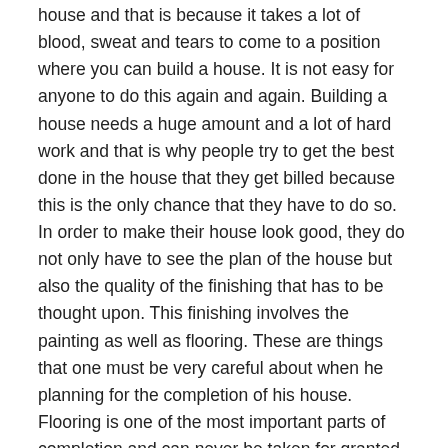house and that is because it takes a lot of blood, sweat and tears to come to a position where you can build a house. It is not easy for anyone to do this again and again. Building a house needs a huge amount and a lot of hard work and that is why people try to get the best done in the house that they get billed because this is the only chance that they have to do so. In order to make their house look good, they do not only have to see the plan of the house but also the quality of the finishing that has to be thought upon. This finishing involves the painting as well as flooring. These are things that one must be very careful about when he planning for the completion of his house. Flooring is one of the most important parts of completion and can never be taken for granted. The overall look of the house and the future interior designs that might be used depend on the way floors have been made. In an attempt to make the floors look good, you can use one of the most widely used tiles that are ceramic floor tile.
Flooring
No item that is being used for the house in any way should be taken lightly. Whether it is the quality of cements used, the types of doors